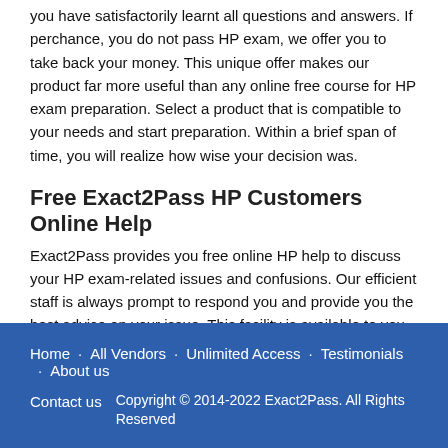you have satisfactorily learnt all questions and answers. If perchance, you do not pass HP exam, we offer you to take back your money. This unique offer makes our product far more useful than any online free course for HP exam preparation. Select a product that is compatible to your needs and start preparation. Within a brief span of time, you will realize how wise your decision was.
Free Exact2Pass HP Customers Online Help
Exact2Pass provides you free online HP help to discuss your HP exam-related issues and confusions. Our efficient staff is always prompt to respond you and provide you the best advice on your issue. This facility is available to you 24/7 a day. For more detailed replies, you send us emails.
Home | All Vendors | Unlimited Access | Testimonials | About us | Contact us | Copyright © 2014-2022 Exact2Pass. All Rights Reserved